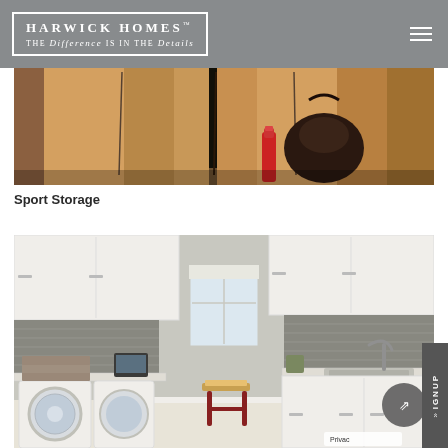HARWICK HOMES™ — THE Difference IS IN THE Details
[Figure (photo): Interior photo of sport storage area with warm wood-toned cabinetry, showing a dark panel wardrobe with a black bag and red bottle visible inside]
Sport Storage
[Figure (photo): Interior photo of a laundry room with white upper and lower cabinetry, gray tile backsplash, front-loading washer and dryer on the left, a red bench in the center, a window, and a sink with faucet on the right]